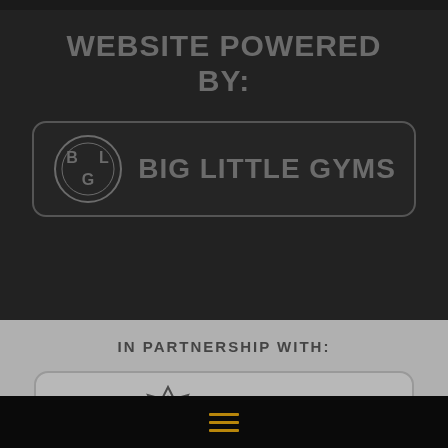WEBSITE POWERED BY:
[Figure (logo): Big Little Gyms logo with BLG monogram circle and text BIG LITTLE GYMS]
IN PARTNERSHIP WITH:
[Figure (logo): Atomic Nutrition logo with gear/atom icon and text ATOMIC NUTRITION]
[Figure (logo): CrossFit Journal logo with italic CrossFit text and JOURNAL banner]
Hamburger menu icon